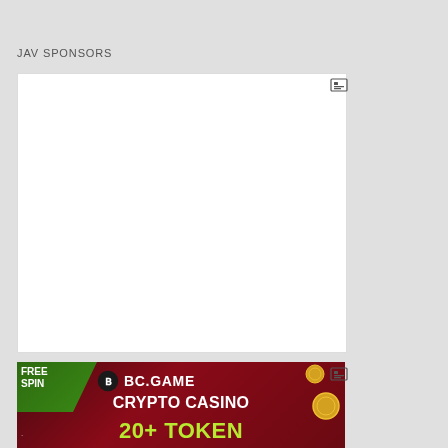JAV SPONSORS
[Figure (other): White blank advertisement box with an ad indicator icon in the top-right corner]
[Figure (other): BC.GAME crypto casino advertisement banner on dark red background with green 'FREE SPIN' text, BC.GAME logo, 'CRYPTO CASINO' text, '20+ TOKEN' text in green/yellow, and gold coin decorations]